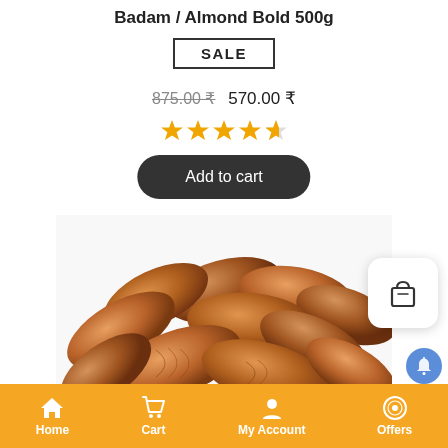Badam / Almond Bold 500g
SALE
875.00 ₹ 570.00 ₹
[Figure (other): 4.5 star rating shown in orange stars]
[Figure (illustration): Pile of almonds/badam on white background]
[Figure (other): Shopping bag icon in a white rounded square card (floating action button)]
[Figure (other): Blue notification bell badge icon]
Home  Cart  My Account  Offers